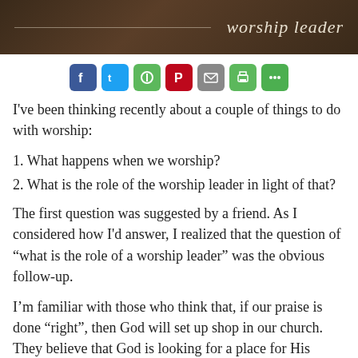[Figure (illustration): Dark brown textured header banner with handwritten-style italic text 'worship leader' and a faint horizontal line]
[Figure (infographic): Row of social sharing icons: Facebook (blue), Twitter (blue), Evernote (green), Pinterest (red), Email (gray), Print (green), More Options (green)]
I've been thinking recently about a couple of things to do with worship:
1. What happens when we worship?
2. What is the role of the worship leader in light of that?
The first question was suggested by a friend. As I considered how I'd answer, I realized that the question of “what is the role of a worship leader” was the obvious follow-up.
I’m familiar with those who think that, if our praise is done “right”, then God will set up shop in our church. They believe that God is looking for a place for His